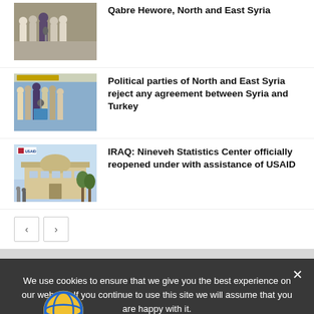Qabre Hewore, North and East Syria
Political parties of North and East Syria reject any agreement between Syria and Turkey
IRAQ: Nineveh Statistics Center officially reopened under with assistance of USAID
We use cookies to ensure that we give you the best experience on our website. If you continue to use this site we will assume that you are happy with it.
Ok